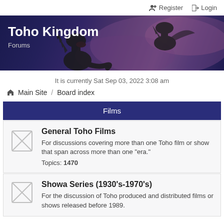Register  Login
[Figure (illustration): Toho Kingdom Forums banner with dark purple/navy background showing monster silhouettes (Godzilla-like creatures), bold white title 'Toho Kingdom' and subtitle 'Forums']
It is currently Sat Sep 03, 2022 3:08 am
Main Site / Board index
Films
General Toho Films
For discussions covering more than one Toho film or show that span across more than one "era."
Topics: 1470
Showa Series (1930's-1970's)
For the discussion of Toho produced and distributed films or shows released before 1989.